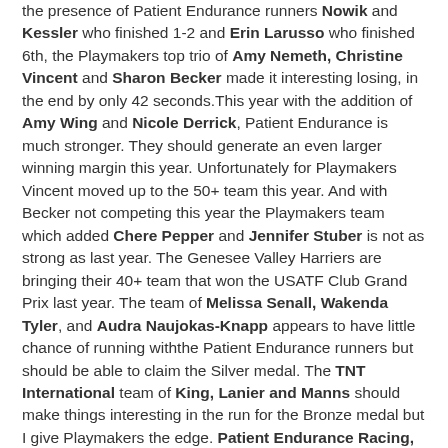the presence of Patient Endurance runners Nowik and Kessler who finished 1-2 and Erin Larusso who finished 6th, the Playmakers top trio of Amy Nemeth, Christine Vincent and Sharon Becker made it interesting losing, in the end by only 42 seconds.This year with the addition of Amy Wing and Nicole Derrick, Patient Endurance is much stronger. They should generate an even larger winning margin this year. Unfortunately for Playmakers Vincent moved up to the 50+ team this year. And with Becker not competing this year the Playmakers team which added Chere Pepper and Jennifer Stuber is not as strong as last year. The Genesee Valley Harriers are bringing their 40+ team that won the USATF Club Grand Prix last year. The team of Melissa Senall, Wakenda Tyler, and Audra Naujokas-Knapp appears to have little chance of running with the Patient Endurance runners but should be able to claim the Silver medal. The TNT International team of King, Lanier and Manns should make things interesting in the run for the Bronze medal but I give Playmakers the edge. Patient Endurance Racing, GVH, Playmakers Elite.
50+. Last year it was a battle between the two longtime